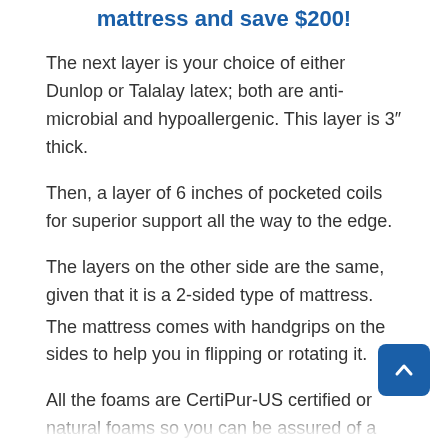mattress and save $200!
The next layer is your choice of either Dunlop or Talalay latex; both are anti-microbial and hypoallergenic. This layer is 3″ thick.
Then, a layer of 6 inches of pocketed coils for superior support all the way to the edge.
The layers on the other side are the same, given that it is a 2-sided type of mattress.
The mattress comes with handgrips on the sides to help you in flipping or rotating it.
All the foams are CertiPur-US certified or natural foams so you can be assured of a non-toxic sleeping